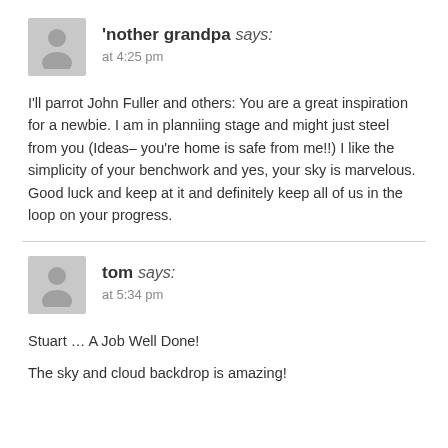'nother grandpa says: at 4:25 pm
I'll parrot John Fuller and others: You are a great inspiration for a newbie. I am in planniing stage and might just steel from you (Ideas– you're home is safe from me!!) I like the simplicity of your benchwork and yes, your sky is marvelous. Good luck and keep at it and definitely keep all of us in the loop on your progress.
tom says: at 5:34 pm
Stuart … A Job Well Done!

The sky and cloud backdrop is amazing!